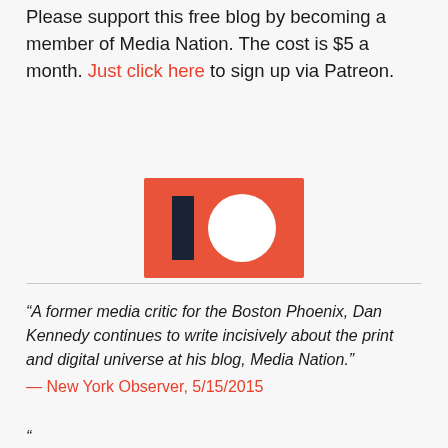Please support this free blog by becoming a member of Media Nation. The cost is $5 a month. Just click here to sign up via Patreon.
[Figure (logo): Patreon logo — coral/orange-red rectangular background with a dark navy vertical bar (representing 'P' stem) and a white circle beside it]
“A former media critic for the Boston Phoenix, Dan Kennedy continues to write incisively about the print and digital universe at his blog, Media Nation.” — New York Observer, 5/15/2015